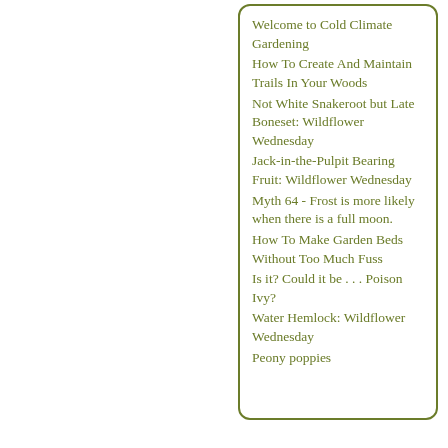Welcome to Cold Climate Gardening
How To Create And Maintain Trails In Your Woods
Not White Snakeroot but Late Boneset: Wildflower Wednesday
Jack-in-the-Pulpit Bearing Fruit: Wildflower Wednesday
Myth 64 - Frost is more likely when there is a full moon.
How To Make Garden Beds Without Too Much Fuss
Is it? Could it be . . . Poison Ivy?
Water Hemlock: Wildflower Wednesday
Peony poppies